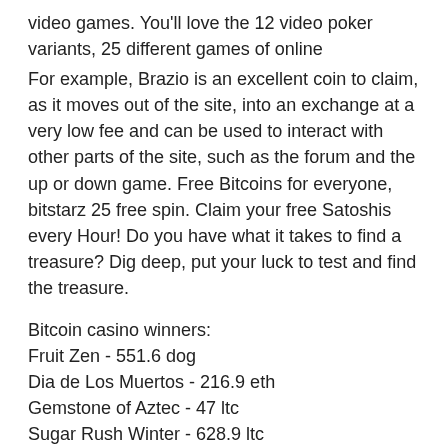video games. You'll love the 12 video poker variants, 25 different games of online
For example, Brazio is an excellent coin to claim, as it moves out of the site, into an exchange at a very low fee and can be used to interact with other parts of the site, such as the forum and the up or down game. Free Bitcoins for everyone, bitstarz 25 free spin. Claim your free Satoshis every Hour! Do you have what it takes to find a treasure? Dig deep, put your luck to test and find the treasure.
Bitcoin casino winners:
Fruit Zen - 551.6 dog
Dia de Los Muertos - 216.9 eth
Gemstone of Aztec - 47 ltc
Sugar Rush Winter - 628.9 ltc
Golden Goal - 484 dog
Divine Fortune - 510.4 bch